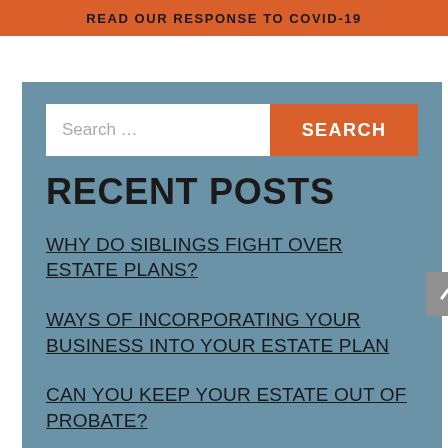READ OUR RESPONSE TO COVID-19
RECENT POSTS
WHY DO SIBLINGS FIGHT OVER ESTATE PLANS?
WAYS OF INCORPORATING YOUR BUSINESS INTO YOUR ESTATE PLAN
CAN YOU KEEP YOUR ESTATE OUT OF PROBATE?